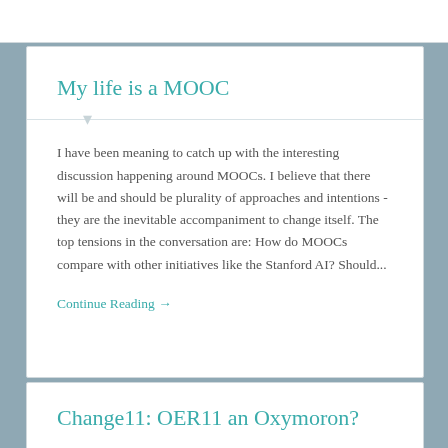My life is a MOOC
I have been meaning to catch up with the interesting discussion happening around MOOCs. I believe that there will be and should be plurality of approaches and intentions - they are the inevitable accompaniment to change itself. The top tensions in the conversation are: How do MOOCs compare with other initiatives like the Stanford AI? Should...
Continue Reading →
Change11: OER11 an Oxymoron?